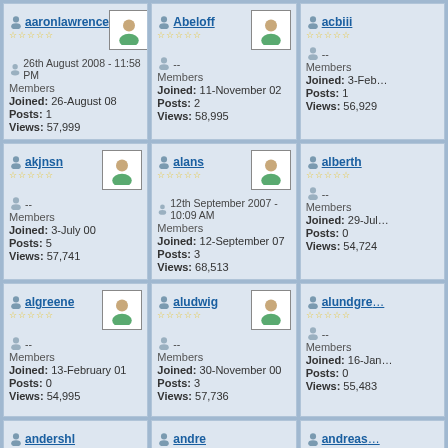aaronlawrence | 26th August 2008 - 11:58 PM | Members | Joined: 26-August 08 | Posts: 1 | Views: 57,999
Abeloff | -- | Members | Joined: 11-November 02 | Posts: 2 | Views: 58,995
acbiii | -- | Members | Joined: 3-Feb... | Posts: 1 | Views: 56,929
akjnsn | -- | Members | Joined: 3-July 00 | Posts: 5 | Views: 57,741
alans | 12th September 2007 - 10:09 AM | Members | Joined: 12-September 07 | Posts: 3 | Views: 68,513
alberth | -- | Members | Joined: 29-Jul... | Posts: 0 | Views: 54,724
algreene | -- | Members | Joined: 13-February 01 | Posts: 0 | Views: 54,995
aludwig | -- | Members | Joined: 30-November 00 | Posts: 3 | Views: 57,736
alundgre... | -- | Members | Joined: 16-Jan... | Posts: 0 | Views: 55,483
andershl | andre | andreas...